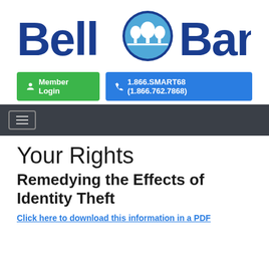[Figure (logo): Bell Bank logo with blue text and tree icon]
[Figure (screenshot): Member Login green button and phone number blue button row]
[Figure (screenshot): Dark navigation bar with hamburger menu icon]
Your Rights
Remedying the Effects of Identity Theft
Click here to download this information in a PDF